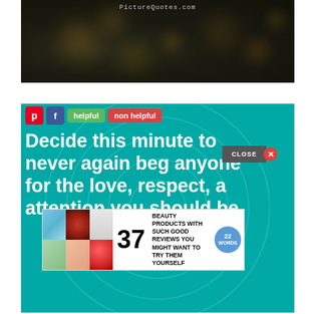[Figure (photo): Dark bokeh background image with PictureQuotes.com watermark text at the top center]
[Figure (infographic): Teal/cyan quote card with social sharing buttons (Pinterest, Facebook, helpful, non helpful) and large white bold text reading 'Decide this minute to never again beg anyone for the love, respect, and attention you should be' overlaid with an advertisement banner for '37 Beauty Products With Such Good Reviews You Might Want To Try Them Yourself' from 22 Words]